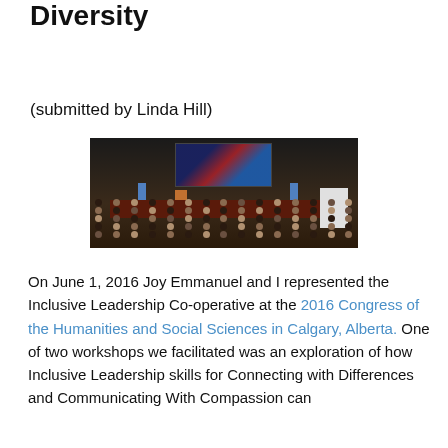Skills for Connecting with Diversity
(submitted by Linda Hill)
[Figure (photo): Conference audience seated in a large auditorium watching a speaker on stage with a large projection screen showing an image with a Union Jack flag, two blue banners on stage, and a white structure to the right.]
On June 1, 2016 Joy Emmanuel and I represented the Inclusive Leadership Co-operative at the 2016 Congress of the Humanities and Social Sciences in Calgary, Alberta. One of two workshops we facilitated was an exploration of how Inclusive Leadership skills for Connecting with Differences and Communicating With Compassion can